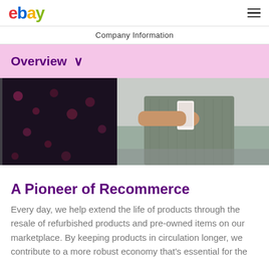ebay  Company Information
Overview ∨
[Figure (photo): Person in a grey knit sweater photographing clothing items hanging on a rack, using a smartphone. Another person wearing a floral top is partially visible on the left.]
A Pioneer of Recommerce
Every day, we help extend the life of products through the resale of refurbished products and pre-owned items on our marketplace. By keeping products in circulation longer, we contribute to a more robust economy that's essential for the